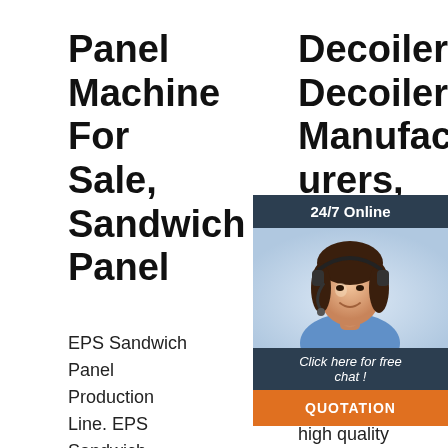Panel Machine For Sale, Sandwich Panel
EPS Sandwich Panel Production Line. EPS Sandwich Panel Production Line is a
Decoiler, Decoiler Manufacturers, Suppliers, Price ...
China Decoiler manufacturers - Select 2021 high quality Decoiler products in best price from certified Chinese
decoiler Manufacturers & Suppliers, Ch... ma...
... manufacturer, decoiler manufacturer/supplier, China manual decoiler manufacturer &
[Figure (infographic): Customer service chat widget with 24/7 Online label, female agent photo with headset, 'Click here for free chat!' text, and orange QUOTATION button]
[Figure (infographic): Orange TOP badge with dot decorations]